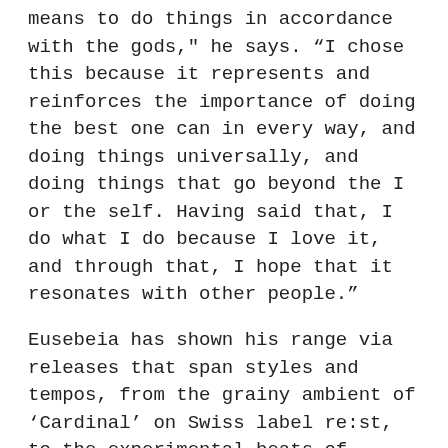means to do things in accordance with the gods," he says. "I chose this because it represents and reinforces the importance of doing the best one can in every way, and doing things universally, and doing things that go beyond the I or the self. Having said that, I do what I do because I love it, and through that, I hope that it resonates with other people."
Eusebeia has shown his range via releases that span styles and tempos, from the grainy ambient of 'Cardinal' on Swiss label re:st, to the experimental beats of 'Remind' on Modern Conveniences, while Sasha recently recruited him for an EP on his Last Night On Earth label, 'Damage Control'.
Moving between genres, though, is something he finds natural. "Even in the '90s and early '00s, people were making lots of different stuff; take